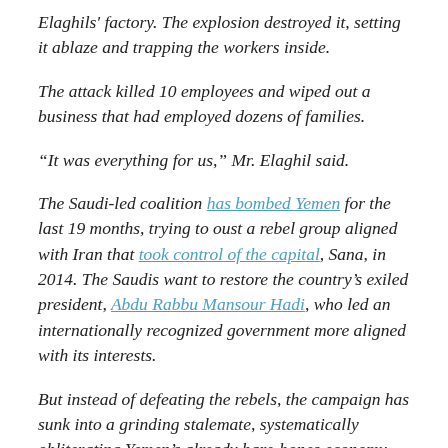Elaghils' factory. The explosion destroyed it, setting it ablaze and trapping the workers inside.
The attack killed 10 employees and wiped out a business that had employed dozens of families.
“It was everything for us,” Mr. Elaghil said.
The Saudi-led coalition has bombed Yemen for the last 19 months, trying to oust a rebel group aligned with Iran that took control of the capital, Sana, in 2014. The Saudis want to restore the country’s exiled president, Abdu Rabbu Mansour Hadi, who led an internationally recognized government more aligned with its interests.
But instead of defeating the rebels, the campaign has sunk into a grinding stalemate, systematically obliterating Yemen’s already bare-bones economy. The coalition has destroyed a wide variety of civilian targets